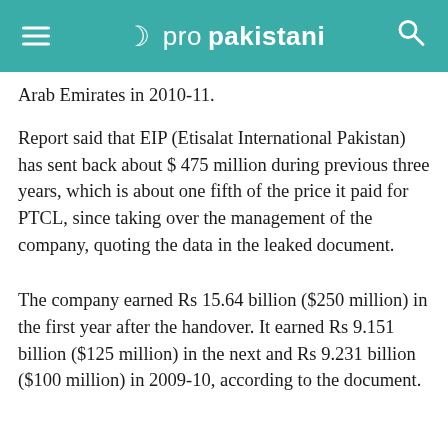≡ ☽ propakistani 🔍
Arab Emirates in 2010-11.
Report said that EIP (Etisalat International Pakistan) has sent back about $ 475 million during previous three years, which is about one fifth of the price it paid for PTCL, since taking over the management of the company, quoting the data in the leaked document.
The company earned Rs 15.64 billion ($250 million) in the first year after the handover. It earned Rs 9.151 billion ($125 million) in the next and Rs 9.231 billion ($100 million) in 2009-10, according to the document.